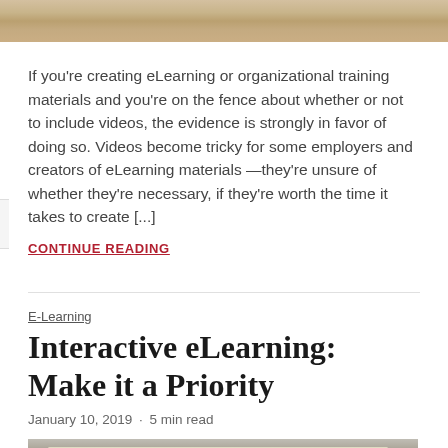[Figure (photo): Top portion of a photo showing people, cropped at top of page]
If you're creating eLearning or organizational training materials and you're on the fence about whether or not to include videos, the evidence is strongly in favor of doing so. Videos become tricky for some employers and creators of eLearning materials —they're unsure of whether they're necessary, if they're worth the time it takes to create [...]
CONTINUE READING
E-Learning
Interactive eLearning: Make it a Priority
January 10, 2019 · 5 min read
[Figure (photo): Bottom portion showing interior of industrial building with ceiling lights, partially cut off at bottom of page]